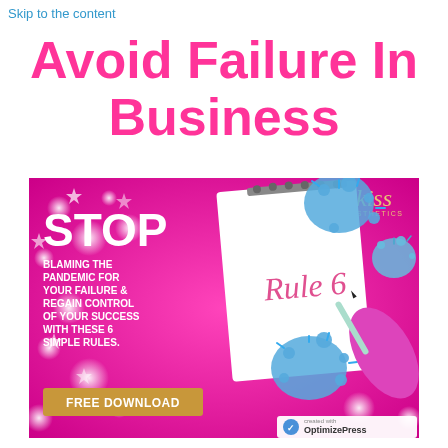Skip to the content
Avoid Failure In Business
[Figure (illustration): Pink promotional banner with text 'STOP BLAMING THE PANDEMIC FOR YOUR FAILURE & REGAIN CONTROL OF YOUR SUCCESS WITH THESE 6 SIMPLE RULES. FREE DOWNLOAD' and a hand writing 'Rule 6' on a notepad, with blue virus illustrations and sparkle effects. 'kiss aesthetics' logo in top right corner. OptimizePress logo in bottom right.]